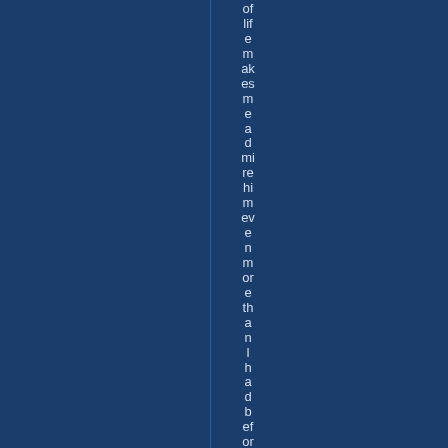of life makes me admire him even more than I had before